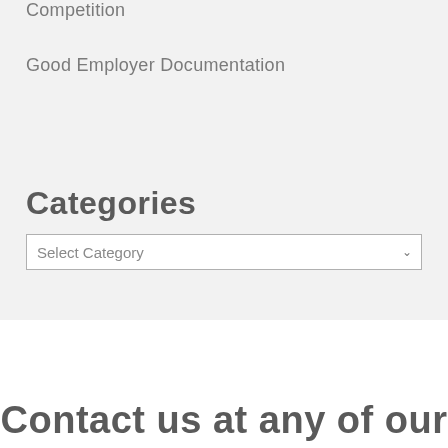Competition
Good Employer Documentation
Categories
Select Category
Contact us at any of our